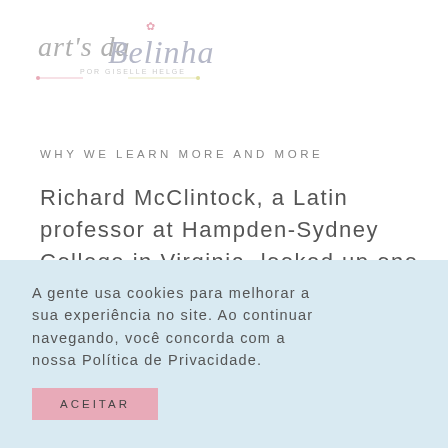[Figure (logo): Art's da Belinha script logo with decorative flourishes and small text 'por Giselle Helge']
WHY WE LEARN MORE AND MORE
Richard McClintock, a Latin professor at Hampden-Sydney College in Virginia. looked up one of
A gente usa cookies para melhorar a sua experiência no site. Ao continuar navegando, você concorda com a nossa Política de Privacidade.
ACEITAR